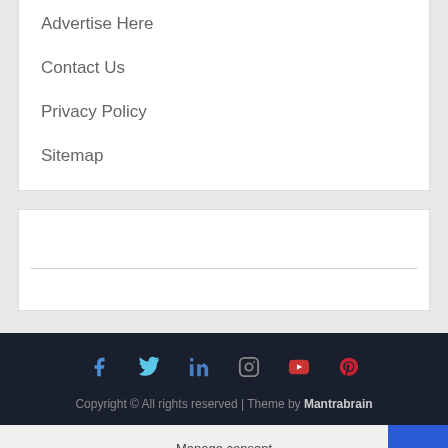Advertise Here
Contact Us
Privacy Policy
Sitemap
[Figure (other): White content box with horizontal divider line in the middle]
[Figure (infographic): Social media icons row: Facebook (blue), Twitter (light blue), LinkedIn (blue), Instagram (dark), YouTube (red), Pinterest (red)]
Copyright © All rights reserved | Theme by Mantrabrain
Manage consent
Exit mobile version